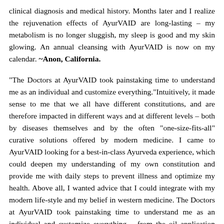clinical diagnosis and medical history. Months later and I realize the rejuvenation effects of AyurVAID are long-lasting – my metabolism is no longer sluggish, my sleep is good and my skin glowing. An annual cleansing with AyurVAID is now on my calendar. ~Anon, California.
“The Doctors at AyurVAID took painstaking time to understand me as an individual and customize everything.”Intuitively, it made sense to me that we all have different constitutions, and are therefore impacted in different ways and at different levels – both by diseases themselves and by the often “one-size-fits-all” curative solutions offered by modern medicine. I came to AyurVAID looking for a best-in-class Ayurveda experience, which could deepen my understanding of my own constitution and provide me with daily steps to prevent illness and optimize my health. Above all, I wanted advice that I could integrate with my modern life-style and my belief in western medicine. The Doctors at AyurVAID took painstaking time to understand me as an individual and customize everything – from the oil application therapies to the diet and lifestyle recommendations to illnesses my constitution may or may not be prone to. I felt empowered to manage my own health for the first time. ~Jose M., Bogota, Colombia